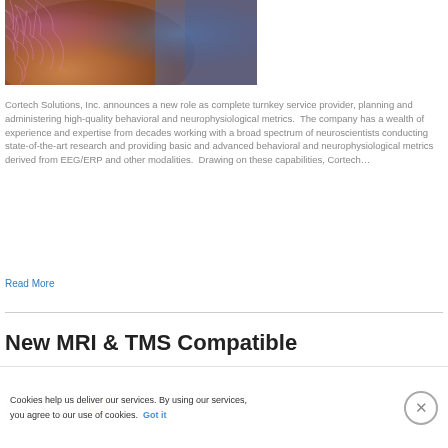[Figure (photo): Close-up medical/clinical photo showing skin with a pink/purple hairnet or cap visible, medical setting with blue background]
Cortech Solutions, Inc. announces a new role as complete turnkey service provider, planning and administering high-quality behavioral and neurophysiological metrics.  The company has a wealth of experience and expertise from decades working with a broad spectrum of neuroscientists conducting state-of-the-art research and providing basic and advanced behavioral and neurophysiological metrics derived from EEG/ERP and other modalities.  Drawing on these capabilities, Cortech…
Read More
New MRI & TMS Compatible
Cookies help us deliver our services. By using our services, you agree to our use of cookies.
Got it